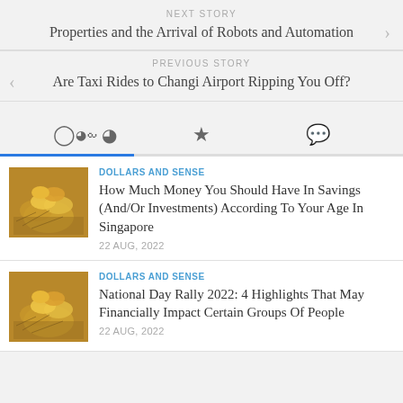NEXT STORY
Properties and the Arrival of Robots and Automation
PREVIOUS STORY
Are Taxi Rides to Changi Airport Ripping You Off?
[Figure (screenshot): Tab bar with clock, star, and comment icons; active tab underlined in blue]
[Figure (photo): Gold coins stacked on financial chart paper]
DOLLARS AND SENSE
How Much Money You Should Have In Savings (And/Or Investments) According To Your Age In Singapore
22 AUG, 2022
[Figure (photo): Gold coins stacked on financial chart paper]
DOLLARS AND SENSE
National Day Rally 2022: 4 Highlights That May Financially Impact Certain Groups Of People
22 AUG, 2022